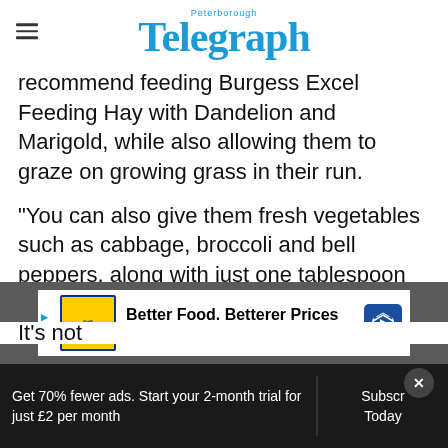Peterborough Telegraph
recommend feeding Burgess Excel Feeding Hay with Dandelion and Marigold, while also allowing them to graze on growing grass in their run.
“You can also give them fresh vegetables such as cabbage, broccoli and bell peppers, along with just one tablespoon of rabbit nuggets per day, two if they’re a large breed.”
[Figure (screenshot): Lidl advertisement banner: Better Food. Betterer Prices - Lidl]
It’s not
Get 70% fewer ads. Start your 2-month trial for just £2 per month
Subscribe Today